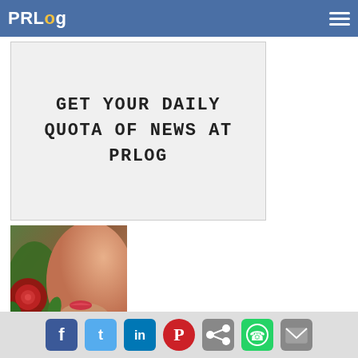PRLog
[Figure (screenshot): Advertisement banner reading GET YOUR DAILY QUOTA OF NEWS AT PRLOG in monospace font on light gray background]
[Figure (photo): Woman with red roses alongside her face, close-up beauty/cosmetic image]
How To Have Perfect Skin Without The High Cost of Cosmetic Surgery
Recent advances in the skin care market have escalated exponentially within the past ten years, making what once used to be the right of movie stars and cover models available to the general public.
Social share icons: Facebook, Twitter, LinkedIn, Pinterest, Share, WhatsApp, Email